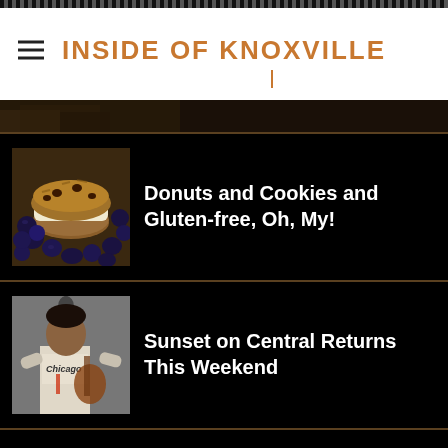INSIDE OF KNOXVILLE
[Figure (photo): Partial image strip at top of content area showing a dark outdoor scene]
[Figure (photo): Photo of a cookie sandwich with blueberries and baked goods]
Donuts and Cookies and Gluten-free, Oh, My!
[Figure (photo): Photo of a man playing guitar, wearing a Chicago jersey]
Sunset on Central Returns This Weekend
SUBSCRIBE
Enter your email address to subscribe to this blog and receive notifications of new posts by email.